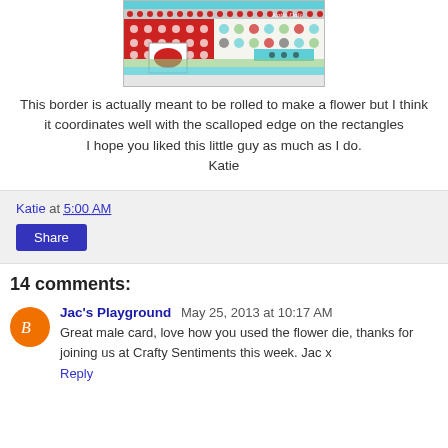[Figure (photo): Craft project photo showing patterned paper with red polka dots, teal/green circular pattern paper, and scalloped rectangles. Watermark reads 'Katie Dale'.]
This border is actually meant to be rolled to make a flower but I think it coordinates well with the scalloped edge on the rectangles
I hope you liked this little guy as much as I do.
Katie
Katie at 5:00 AM
Share
14 comments:
Jac's Playground May 25, 2013 at 10:17 AM
Great male card, love how you used the flower die, thanks for joining us at Crafty Sentiments this week. Jac x
Reply